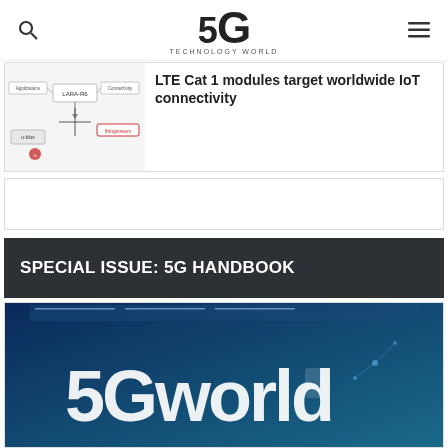5G TECHNOLOGY WORLD
[Figure (illustration): Network diagram showing LARA-R6 module connected to various IoT services including thingstream and u-blox]
LTE Cat 1 modules target worldwide IoT connectivity
SPECIAL ISSUE: 5G HANDBOOK
[Figure (photo): 5G World handbook cover image with blue background showing '5Gworld' text]